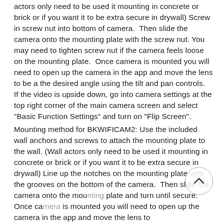actors only need to be used it mounting in concrete or brick or if you want it to be extra secure in drywall) Screw in screw nut into bottom of camera.  Then slide the camera onto the mounting plate with the screw nut. You may need to tighten screw nut if the camera feels loose on the mounting plate.  Once camera is mounted you will need to open up the camera in the app and move the lens to be a the desired angle using the tilt and pan controls.  If the video is upside down, go into camera settings at the top right corner of the main camera screen and select "Basic Function Settings" and turn on "Flip Screen".
Mounting method for BKWIFICAM2: Use the included wall anchors and screws to attach the mounting plate to the wall. (Wall actors only need to be used it mounting in concrete or brick or if you want it to be extra secure in drywall) Line up the notches on the mounting plate with the grooves on the bottom of the camera.  Then slide the camera onto the mounting plate and turn until secure. Once camera is mounted you will need to open up the camera in the app and move the lens to